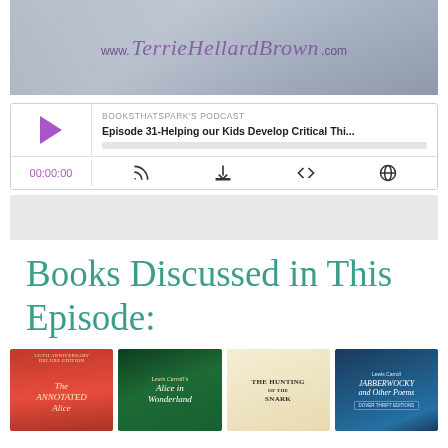[Figure (photo): Header image with children reading, watermark text 'www.TerrieHellardBrown.com' in purple script]
[Figure (screenshot): Podcast player widget: BOOKSTHATSPARK'S PODCAST, Episode 31-Helping our Kids Develop Critical Thi..., play button, time 00:00:00, podcast controls]
Books Discussed in This Episode:
[Figure (photo): Four book covers displayed side by side: The Annotated Alice (red cover), Alice in Wonderland (green/illustrated cover), The Hunting of the Snark (cream cover), Jabberwocky and Other Poems by Lewis Carroll (blue Dover Thrift edition cover)]